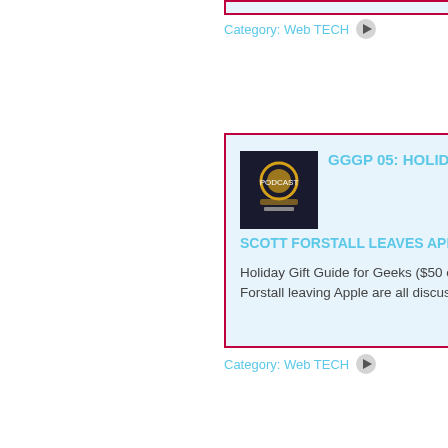Category: Web TECH
[Figure (screenshot): Partial top card with pink/red border, light blue background, cut off at top]
[Figure (screenshot): Thumbnail image box on right side, white background]
[Figure (screenshot): Main card: GGGP 05: HOLIDAY GIFT GU... / SCOTT FORSTALL LEAVES APPLE... with podcast thumbnail and description text]
Category: Web TECH
Holiday Gift Guide for Geeks ($50 or le... Forstall leaving Apple are all discussed...